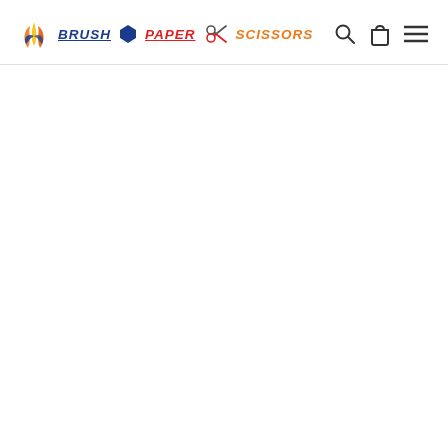BRUSH PAPER SCISSORS — navigation header with logo, search, cart, and menu icons
[Figure (logo): Brush Paper Scissors logo with flame/brush icon in orange/gold and blue, text reading BRUSH in dark blue italic underlined, PAPER in red italic underlined with blue pentagon shape, scissors icon, SCISSORS in orange italic; plus search, shopping bag, and hamburger menu icons on the right]